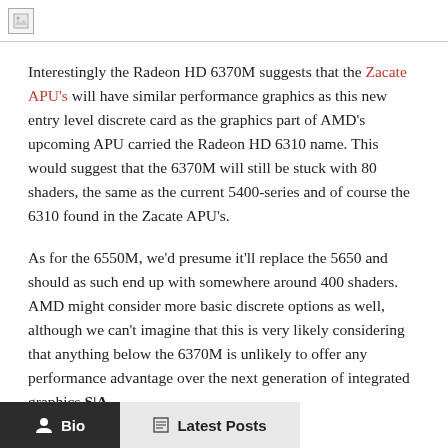[Figure (other): Broken image placeholder icon in top header bar]
Interestingly the Radeon HD 6370M suggests that the Zacate APU's will have similar performance graphics as this new entry level discrete card as the graphics part of AMD's upcoming APU carried the Radeon HD 6310 name. This would suggest that the 6370M will still be stuck with 80 shaders, the same as the current 5400-series and of course the 6310 found in the Zacate APU's.
As for the 6550M, we'd presume it'll replace the 5650 and should as such end up with somewhere around 400 shaders. AMD might consider more basic discrete options as well, although we can't imagine that this is very likely considering that anything below the 6370M is unlikely to offer any performance advantage over the next generation of integrated graphics.S|A
Bio   Latest Posts